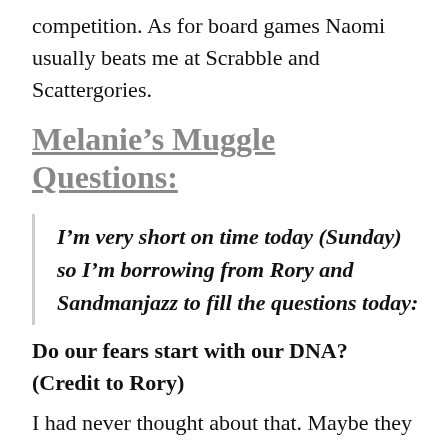competition. As for board games Naomi usually beats me at Scrabble and Scattergories.
Melanie's Muggle Questions:
I'm very short on time today (Sunday) so I'm borrowing from Rory and Sandmanjazz to fill the questions today:
Do our fears start with our DNA?  (Credit to Rory)
I had never thought about that. Maybe they do but I am much more cowardly than other members of my family I'm sure.